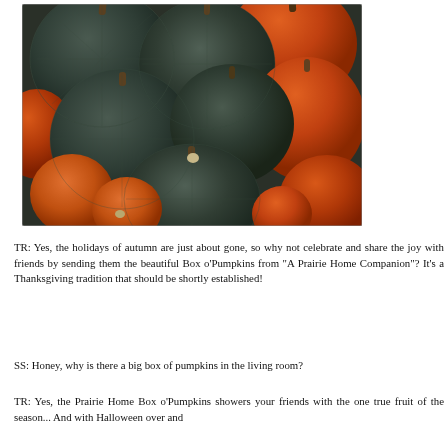[Figure (photo): A pile of mixed squash and pumpkins — dark green/blue-gray round squash alongside bright orange pumpkins, viewed from above.]
TR: Yes, the holidays of autumn are just about gone, so why not celebrate and share the joy with friends by sending them the beautiful Box o'Pumpkins from "A Prairie Home Companion"? It's a Thanksgiving tradition that should be shortly established!
SS: Honey, why is there a big box of pumpkins in the living room?
TR: Yes, the Prairie Home Box o'Pumpkins showers your friends with the one true fruit of the season... And with Halloween over and